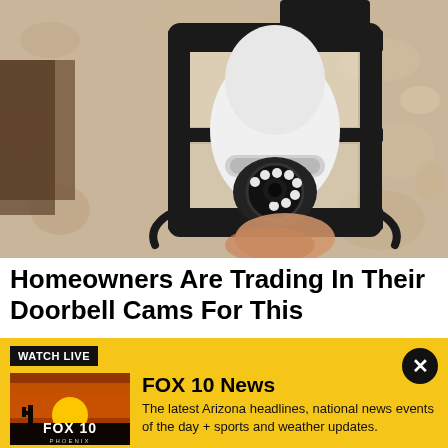[Figure (photo): A security camera shaped like a light bulb installed inside an outdoor wall lantern fixture mounted on a textured stucco wall. A hand is holding/installing the camera bulb.]
Homeowners Are Trading In Their Doorbell Cams For This
[Figure (screenshot): FOX 10 News Watch Live banner overlay with yellow background, FOX 10 Phoenix thumbnail image showing a sunset/sunrise silhouette, and text 'FOX 10 News - The latest Arizona headlines, national news events of the day + sports and weather updates.' with a close (X) button.]